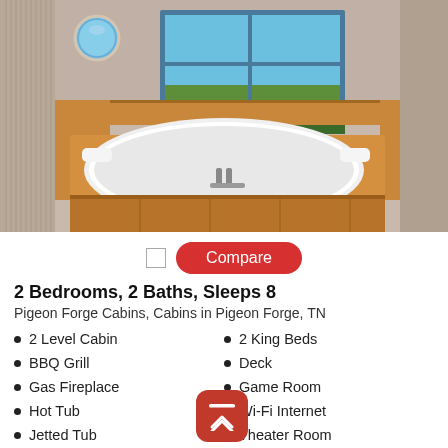[Figure (photo): Interior bathroom photo showing a large jetted/soaking tub surrounded by light pine wood paneling. A window above shows blue sky and trees outside. A small round porthole window is visible on the upper left wall.]
Compare
2 Bedrooms, 2 Baths, Sleeps 8
Pigeon Forge Cabins, Cabins in Pigeon Forge, TN
2 Level Cabin
BBQ Grill
Gas Fireplace
Hot Tub
Jetted Tub
2 King Beds
Deck
Game Room
Wi-Fi Internet
Theater Room